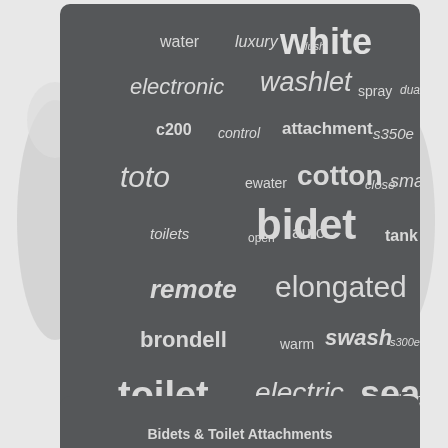[Figure (infographic): Word cloud of bidet/toilet-related search terms on a dark gray background. Words include: white (largest), bidet, elongated, toilet, seat, electric, heated, washlet, electronic, cotton, toto, remote, brondell, swash, smart, tank, attachment, control, c200, s350e, s300e, luxury, water, flush, spray, dual, ewater, close, auto, open, toilets, warm, wall, advanced, kohler]
Bidets & Toilet Attachments
Contact